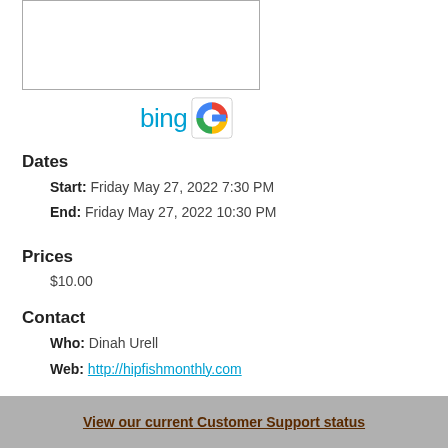[Figure (other): Map box (white rectangle with border) with Bing and Google logo icons below]
Dates
Start: Friday May 27, 2022 7:30 PM
End: Friday May 27, 2022 10:30 PM
Prices
$10.00
Contact
Who: Dinah Urell
Web: http://hipfishmonthly.com
More Info
View our current Customer Support status